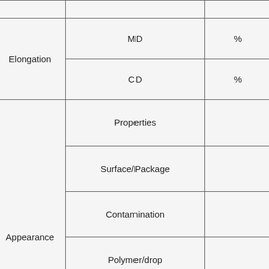|  |  | MD/CD/Properties/etc. | Value |
| --- | --- | --- | --- |
|  | Elongation | MD | % |
|  | Elongation | CD | % |
| Appearance | Properties |  |  |
| Appearance | Surface/Package |  |  |
| Appearance | Contamination |  |  |
| Appearance | Polymer/drop |  | No conti… |
| Appearance | Holes/Tears/Cuts |  |  |
| Appearance | Width/end/volume |  |  |